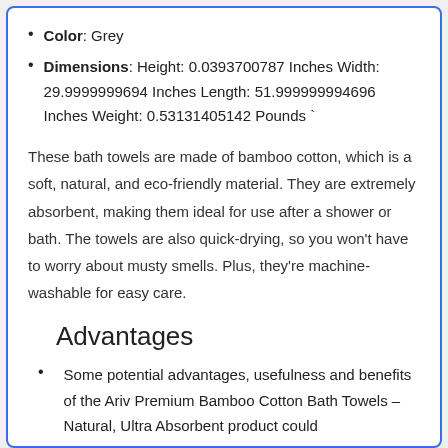Color: Grey
Dimensions: Height: 0.0393700787 Inches Width: 29.9999999694 Inches Length: 51.999999994696 Inches Weight: 0.53131405142 Pounds `
These bath towels are made of bamboo cotton, which is a soft, natural, and eco-friendly material. They are extremely absorbent, making them ideal for use after a shower or bath. The towels are also quick-drying, so you won't have to worry about musty smells. Plus, they're machine-washable for easy care.
Advantages
Some potential advantages, usefulness and benefits of the Ariv Premium Bamboo Cotton Bath Towels – Natural, Ultra Absorbent product could